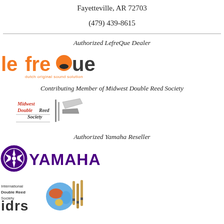Fayetteville, AR 72703
(479) 439-8615
Authorized LefreQue Dealer
[Figure (logo): LefreQue logo: orange and dark text 'lefreQue' with tagline 'dutch original sound solution']
Contributing Member of Midwest Double Reed Society
[Figure (logo): Midwest Double Reed Society logo with text and instrument graphic]
Authorized Yamaha Reseller
[Figure (logo): Yamaha logo: purple circle with tuning fork emblem and YAMAHA text]
[Figure (logo): International Double Reed Society (IDRS) logo with globe and reed instruments]